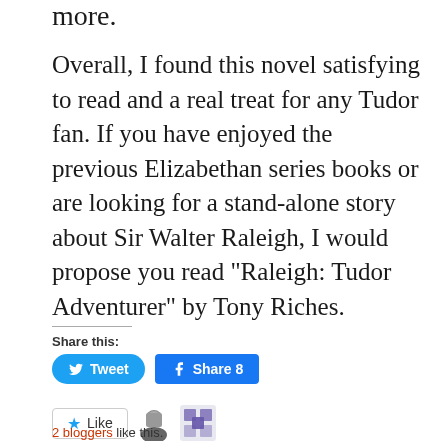more.
Overall, I found this novel satisfying to read and a real treat for any Tudor fan. If you have enjoyed the previous Elizabethan series books or are looking for a stand-alone story about Sir Walter Raleigh, I would propose you read “Raleigh: Tudor Adventurer” by Tony Riches.
Share this:
[Figure (screenshot): Tweet and Share 8 social media buttons]
[Figure (screenshot): Like button with star icon, two blogger avatars]
2 bloggers like this.